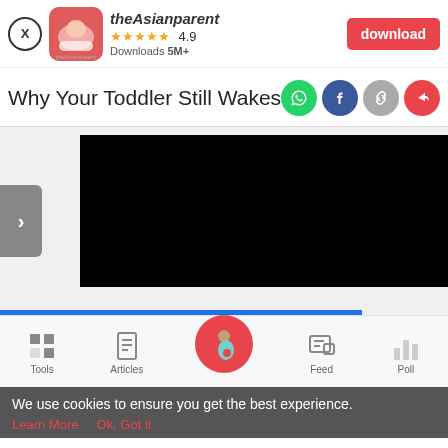[Figure (screenshot): theAsianparent app banner with app icon, name, 4.9 star rating, 5M+ downloads, and red download button]
Why Your Toddler Still Wakes at Nigh
[Figure (infographic): Social share icons: WhatsApp (green), Facebook (blue), link (grey), share (red)]
[Figure (screenshot): Content area with grey sidebar arrow showing >, black panel, and blue progress bar at bottom]
[Figure (screenshot): Bottom navigation bar with Tools (grid icon), Articles (clipboard icon), center pregnant woman icon (pink circle), Feed (speech bubble icon), Poll (bar chart icon)]
We use cookies to ensure you get the best experience.
Learn More   Ok, Got it